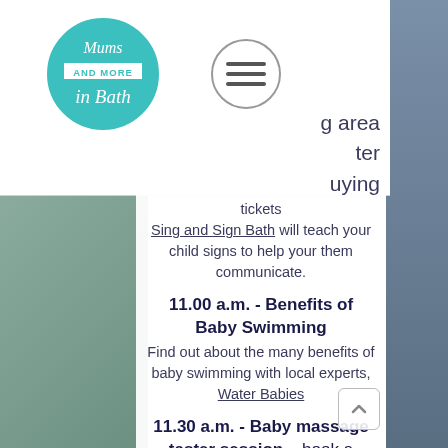[Figure (logo): Mums and More in Bath circular teal logo]
[Figure (illustration): Hamburger menu icon in a circle]
tickets
Sing and Sign Bath will teach your child signs to help your them communicate.
11.00 a.m. - Benefits of Baby Swimming
Find out about the many benefits of baby swimming with local experts, Water Babies
11.30 a.m. - Baby massage taster session - book a space when buying tickets
Experience the calming benefits of baby massage with The Bath Massage Company.